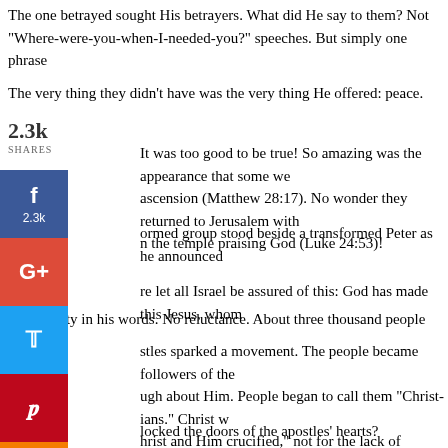The one betrayed sought His betrayers. What did He say to them? Not “Where-were-you-when-I-needed-you?” speeches. But simply one phrase
The very thing they didn’t have was the very thing He offered: peace.
It was too good to be true! So amazing was the appearance that some we ascension (Matthew 28:17). No wonder they returned to Jerusalem with n the temple praising God (Luke 24:53)!
[Figure (infographic): Social sharing widget showing 2.3k shares with Facebook (2.3k), Google+, Twitter, Pinterest, and Blogger buttons]
ormed group stood beside a transformed Peter as he announced
re let all Israel be assured of this: God has made this Jesus, whom
No timidity in his words. No reluctance. About three thousand people belie
stles sparked a movement. The people became followers of the ugh about Him. People began to call them “Christ-ians.” Christ w hrist and Him crucified,” not for the lack of another topic, but beca
locked the doors of the apostles’ hearts?